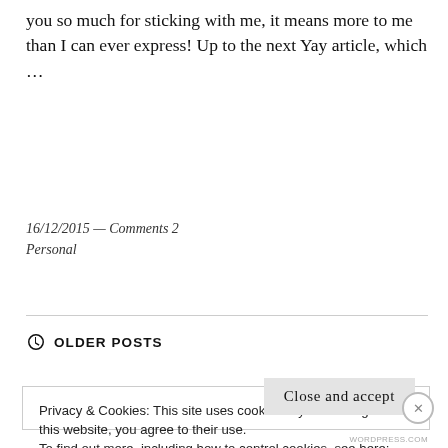you so much for sticking with me, it means more to me than I can ever express! Up to the next Yay article, which ...
16/12/2015 — Comments 2
Personal
OLDER POSTS
Privacy & Cookies: This site uses cookies. By continuing to use this website, you agree to their use.
To find out more, including how to control cookies, see here:
Cookie Policy
Close and accept
WORDPRESS.COM